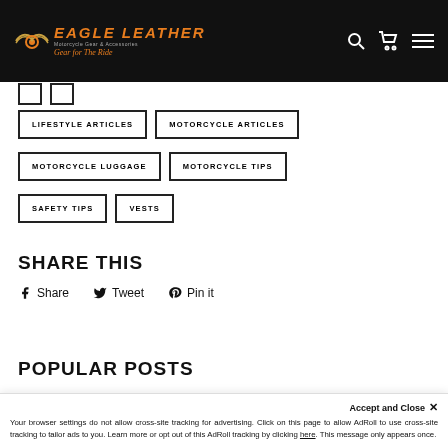Eagle Leather — Motorcycle Gear & Accessories — Gear for The Ride
LIFESTYLE ARTICLES
MOTORCYCLE ARTICLES
MOTORCYCLE LUGGAGE
MOTORCYCLE TIPS
SAFETY TIPS
VESTS
SHARE THIS
Share  Tweet  Pin it
POPULAR POSTS
Accept and Close ×
Your browser settings do not allow cross-site tracking for advertising. Click on this page to allow AdRoll to use cross-site tracking to tailor ads to you. Learn more or opt out of this AdRoll tracking by clicking here. This message only appears once.